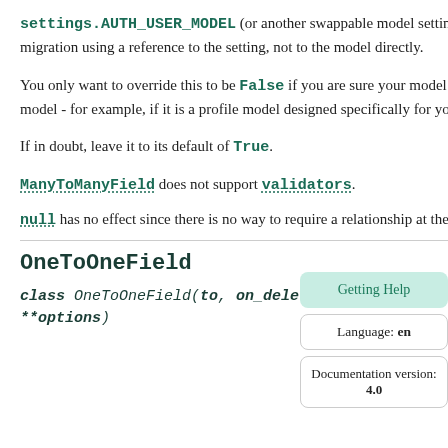settings.AUTH_USER_MODEL (or another swappable model setting) the relationship will be stored in the migration using a reference to the setting, not to the model directly.
You only want to override this to be False if you are sure your model should always point toward the swapped-in model - for example, if it is a profile model designed specifically for your custom user model.
If in doubt, leave it to its default of True.
ManyToManyField does not support validators.
null has no effect since there is no way to require a relationship at the database level.
Getting Help
Language: en
OneToOneField
Documentation version: 4.0
class OneToOneField(to, on_delete, parent_link=False, **options)